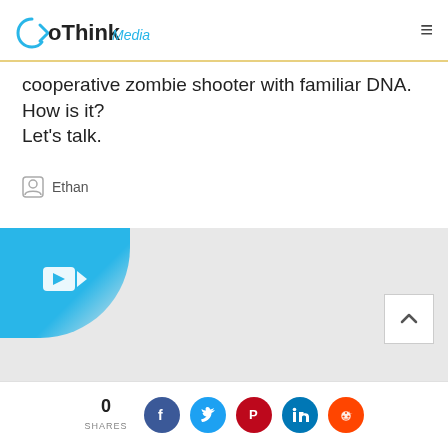GoThinkMedia
cooperative zombie shooter with familiar DNA. How is it? Let's talk.
Ethan
[Figure (screenshot): Video thumbnail placeholder with blue gradient overlay containing a video camera play icon on grey background]
0 SHARES — social share buttons: Facebook, Twitter, Pinterest, LinkedIn, Reddit